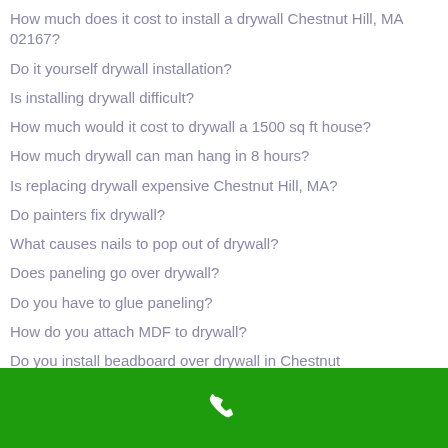How much does it cost to install a drywall Chestnut Hill, MA 02167?
Do it yourself drywall installation?
Is installing drywall difficult?
How much would it cost to drywall a 1500 sq ft house?
How much drywall can man hang in 8 hours?
Is replacing drywall expensive Chestnut Hill, MA?
Do painters fix drywall?
What causes nails to pop out of drywall?
Does paneling go over drywall?
Do you have to glue paneling?
How do you attach MDF to drywall?
Do you install beadboard over drywall in Chestnut
[Figure (other): Green footer bar with white phone icon]